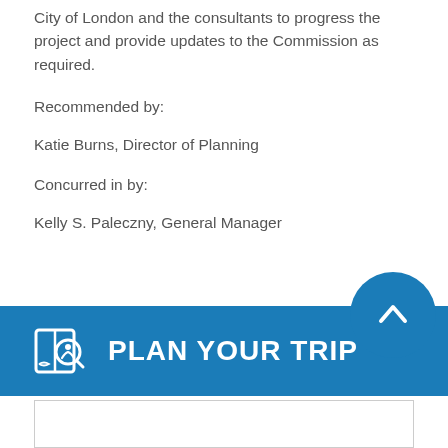London Transit Administration will continue to work with the City of London and the consultants to progress the project and provide updates to the Commission as required.
Recommended by:
Katie Burns, Director of Planning
Concurred in by:
Kelly S. Paleczny, General Manager
[Figure (infographic): Blue banner with transit/plan-your-trip icon and text 'PLAN YOUR TRIP', with a circular scroll-up button on the right]